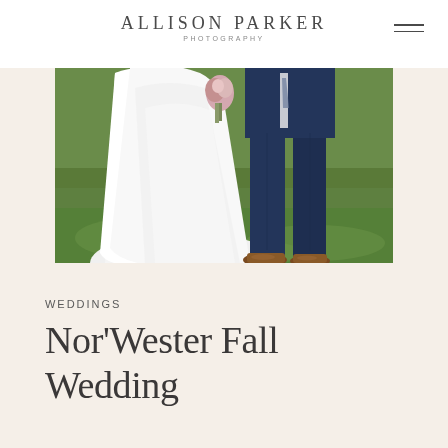ALLISON PARKER PHOTOGRAPHY
[Figure (photo): Wedding photo showing the lower halves of a bride in a white ballgown dress holding a bouquet, and a groom in a navy suit with brown shoes, standing on a green grass lawn outdoors.]
WEDDINGS
Nor'Wester Fall Wedding